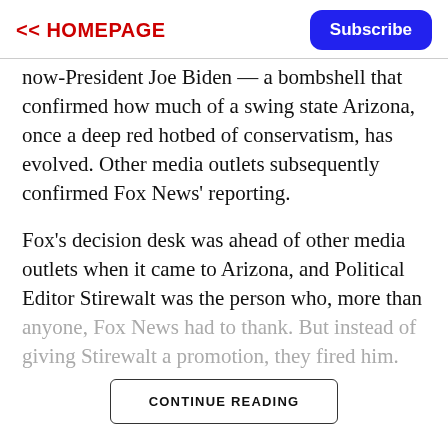<< HOMEPAGE | Subscribe
now-President Joe Biden — a bombshell that confirmed how much of a swing state Arizona, once a deep red hotbed of conservatism, has evolved. Other media outlets subsequently confirmed Fox News' reporting.
Fox's decision desk was ahead of other media outlets when it came to Arizona, and Political Editor Stirewalt was the person who, more than anyone, Fox News had to thank. But instead of giving Stirewalt a promotion, they fired him.
CONTINUE READING